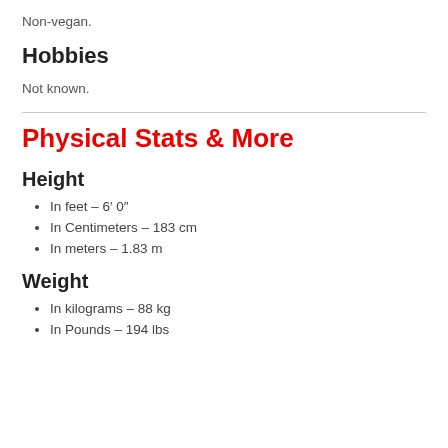Non-vegan.
Hobbies
Not known.
Physical Stats & More
Height
In feet – 6′ 0″
In Centimeters – 183 cm
In meters – 1.83 m
Weight
In kilograms – 88 kg
In Pounds – 194 lbs